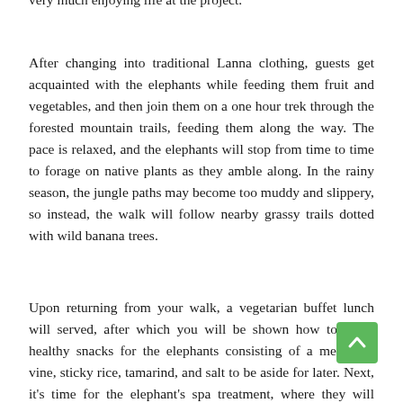very much enjoying life at the project.
After changing into traditional Lanna clothing, guests get acquainted with the elephants while feeding them fruit and vegetables, and then join them on a one hour trek through the forested mountain trails, feeding them along the way. The pace is relaxed, and the elephants will stop from time to time to forage on native plants as they amble along. In the rainy season, the jungle paths may become too muddy and slippery, so instead, the walk will follow nearby grassy trails dotted with wild banana trees.
Upon returning from your walk, a vegetarian buffet lunch will served, after which you will be shown how to make healthy snacks for the elephants consisting of a medicinal vine, sticky rice, tamarind, and salt to be aside for later. Next, it's time for the elephant's spa treatment, where they will enjoy being scrubbed with a